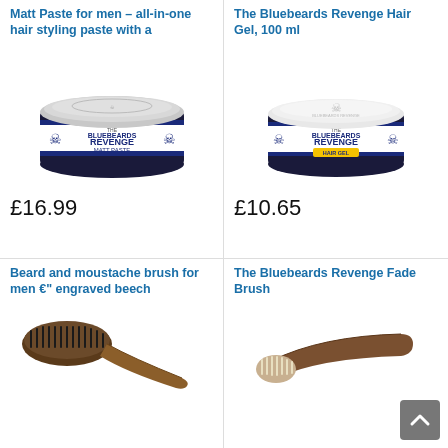Matt Paste for men – all-in-one hair styling paste with a
[Figure (photo): Bluebeards Revenge Matt Paste tin, dark blue with silver lid, showing skull and crossbones logo]
£16.99
The Bluebeards Revenge Hair Gel, 100 ml
[Figure (photo): Bluebeards Revenge Hair Gel tin, white with skull and crossbones lid, yellow Hair Gel label]
£10.65
Beard and moustache brush for men €" engraved beech
[Figure (photo): Wooden beard and moustache brush with dark bristles and brown wooden handle]
The Bluebeards Revenge Fade Brush
[Figure (photo): The Bluebeards Revenge Fade Brush with wooden handle and light cream bristles]